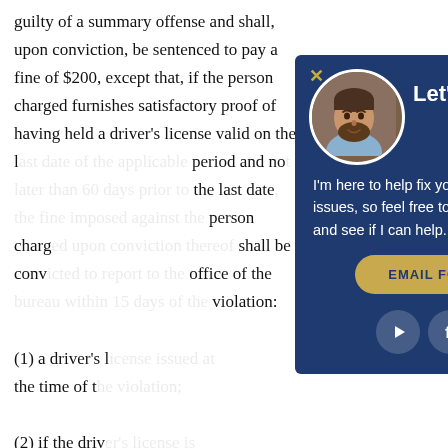guilty of a summary offense and shall, upon conviction, be sentenced to pay a fine of $200, except that, if the person charged furnishes satisfactory proof of having held a driver's license valid on the last date of the applicable period and not later than 60 days prior to the last date, the fine imposed against the person charged upon conviction thereof shall beconv... office of the last violation: (1) a driver's license ... the time of the violation. (2) if the driv... illegible, evid... the time of the violation.
[Figure (screenshot): A popup modal with dark navy blue background. Contains a close X button top-left, a circular headshot photo of a man with a beard, bold white text 'Let's Talk!', body text 'I'm here to help fix your driver's license issues, so feel free to leave some details and see if I can help.', a gold 'EMAIL FOR HELP' button, and three social media icons (play, facebook, wordpress).]